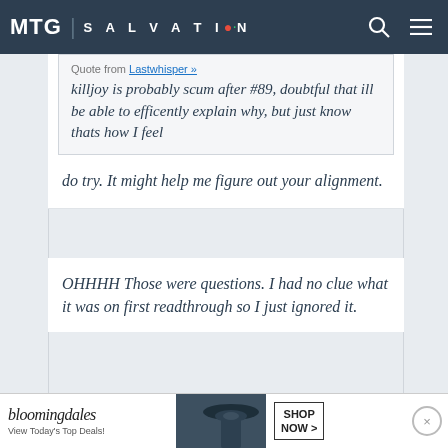MTG | SALVATION
Quote from Lastwhisper »
killjoy is probably scum after #89, doubtful that ill be able to efficently explain why, but just know thats how I feel
do try. It might help me figure out your alignment.
OHHHH Those were questions. I had no clue what it was on first readthrough so I just ignored it.
[Figure (screenshot): Bloomingdale's advertisement banner: 'View Today's Top Deals!' with SHOP NOW button and woman in hat image]